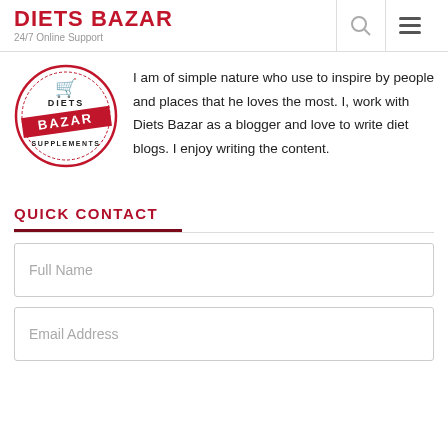DIETS BAZAR
24/7 Online Support
[Figure (logo): Diets Bazar Supplements circular logo with shopping cart icon, red banner with BAZAR text, and circular border]
I am of simple nature who use to inspire by people and places that he loves the most. I, work with Diets Bazar as a blogger and love to write diet blogs. I enjoy writing the content.
QUICK CONTACT
Full Name
Email Address